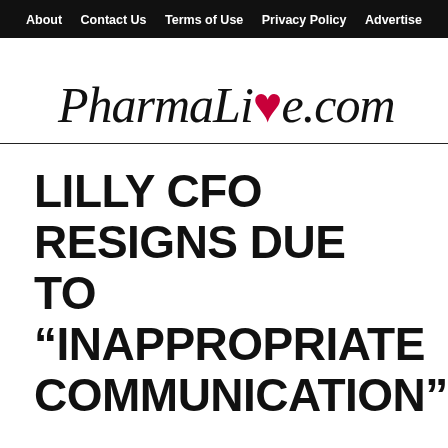About  Contact Us  Terms of Use  Privacy Policy  Advertise
[Figure (logo): PharmaLive.com logo in italic serif font with red heart replacing letter 'v' in Live]
LILLY CFO RESIGNS DUE TO “INAPPROPRIATE COMMUNICATION”